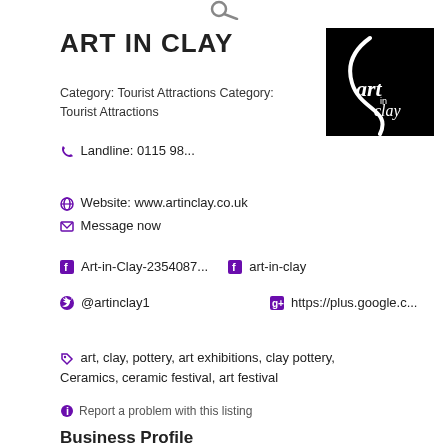ART IN CLAY
Category: Tourist Attractions Category: Tourist Attractions
Landline: 0115 98...
[Figure (logo): Art in Clay logo — black square with white stylized 'art inclay' text]
Website: www.artinclay.co.uk
Message now
Art-in-Clay-2354087...   art-in-clay
@artinclay1   https://plus.google.c...
art, clay, pottery, art exhibitions, clay pottery, Ceramics, ceramic festival, art festival
Report a problem with this listing
Business Profile